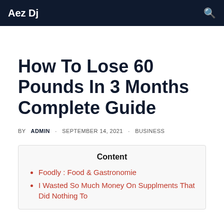Aez Dj
How To Lose 60 Pounds In 3 Months Complete Guide
BY ADMIN · SEPTEMBER 14, 2021 · BUSINESS
Content
Foodly : Food & Gastronomie
I Wasted So Much Money On Supplments That Did Nothing To